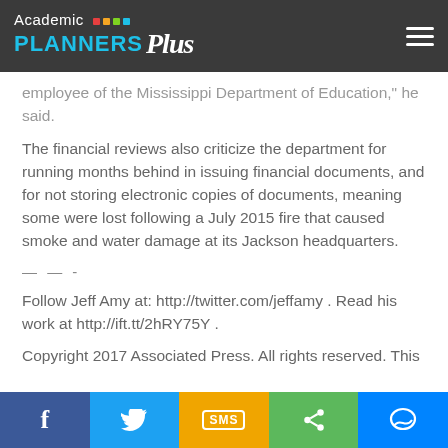Academic Planners Plus
employee of the Mississippi Department of Education," he said.
The financial reviews also criticize the department for running months behind in issuing financial documents, and for not storing electronic copies of documents, meaning some were lost following a July 2015 fire that caused smoke and water damage at its Jackson headquarters.
— — -
Follow Jeff Amy at: http://twitter.com/jeffamy . Read his work at http://ift.tt/2hRY75Y .
Copyright 2017 Associated Press. All rights reserved. This
Facebook | Twitter | SMS | Share | Messenger